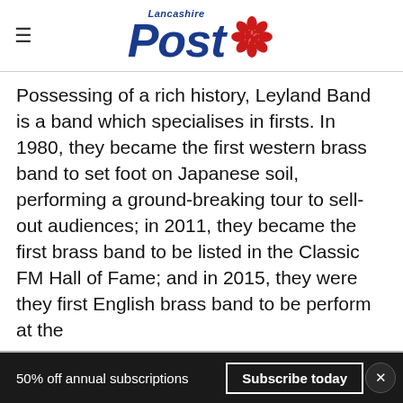Lancashire Post
Possessing of a rich history, Leyland Band is a band which specialises in firsts. In 1980, they became the first western brass band to set foot on Japanese soil, performing a ground-breaking tour to sell-out audiences; in 2011, they became the first brass band to be listed in the Classic FM Hall of Fame; and in 2015, they were they first English brass band to be perform at the Innsbruck Promenade Concert Series in Austria.
50% off annual subscriptions  Subscribe today  ×